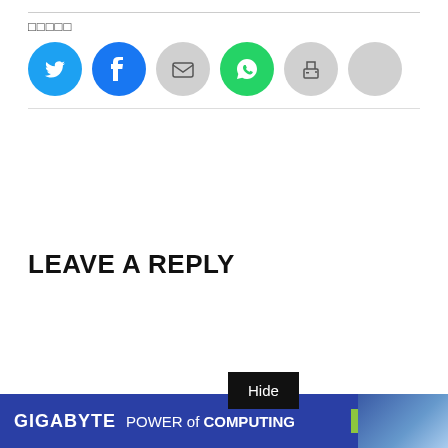□□□□□
[Figure (infographic): Row of six social share circular icon buttons: Twitter (blue), Facebook (blue), Email (gray), WhatsApp (green), Print (gray), and one extra gray circle.]
LEAVE A REPLY
Hide
[Figure (infographic): GIGABYTE advertisement banner: dark blue background with white text reading 'GIGABYTE POWER of COMPUTING' and a green 'Explore →' button on the right, with server image on far right.]